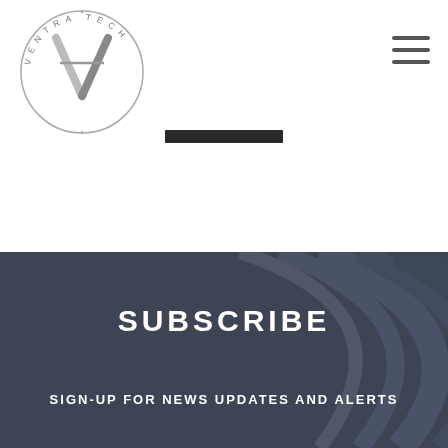[Figure (logo): Ventra Tech circular logo with stylized V lettermark and text around the circle]
[Figure (other): Hamburger menu icon (three horizontal lines) in top right corner]
[Figure (other): Dark horizontal bar/button element centered below logo]
SUBSCRIBE
SIGN-UP FOR NEWS UPDATES AND ALERTS